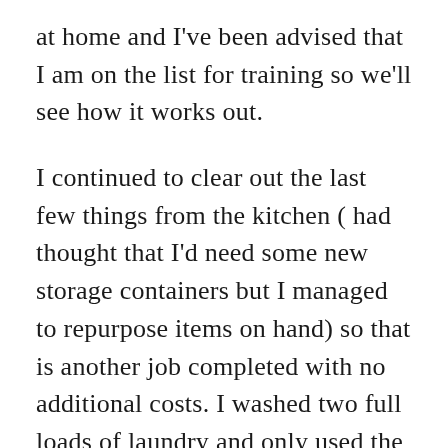at home and I've been advised that I am on the list for training so we'll see how it works out.
I continued to clear out the last few things from the kitchen ( had thought that I'd need some new storage containers but I managed to repurpose items on hand) so that is another job completed with no additional costs. I washed two full loads of laundry and only used the dryer for the load of sheets – the items in the other load